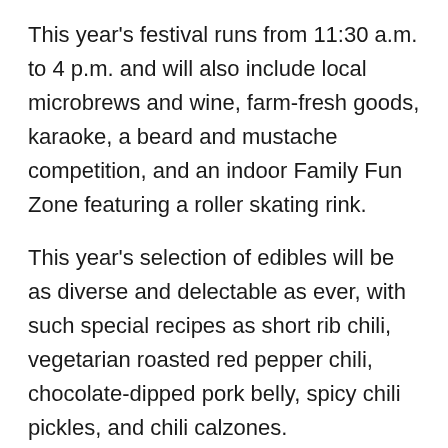This year's festival runs from 11:30 a.m. to 4 p.m. and will also include local microbrews and wine, farm-fresh goods, karaoke, a beard and mustache competition, and an indoor Family Fun Zone featuring a roller skating rink.
This year's selection of edibles will be as diverse and delectable as ever, with such special recipes as short rib chili, vegetarian roasted red pepper chili, chocolate-dipped pork belly, spicy chili pickles, and chili calzones.
The chili will be judged by a panel of local notables and all attendees will have a chance to vote for their favorite for the People's Choice Award. Restaurateurs will be joined by local vintners and brewers, including Bandwagon, Bacchus and Six Mile Creek (don't forget to bring your ID).
The Tompkins Trust Company, a longtime supporter of the